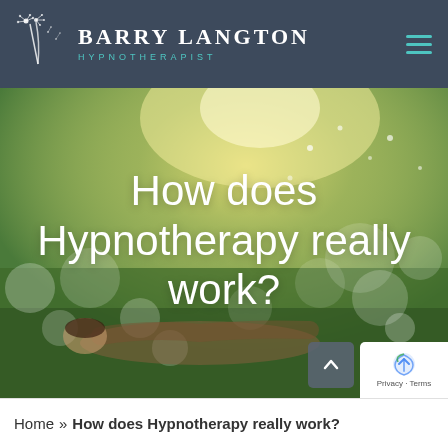Barry Langton Hypnotherapist
[Figure (photo): Hero banner photo of a person lying in a field of dandelions with sunlight and bokeh background. Large white text overlay reads 'How does Hypnotherapy really work?']
How does Hypnotherapy really work?
Home » How does Hypnotherapy really work?